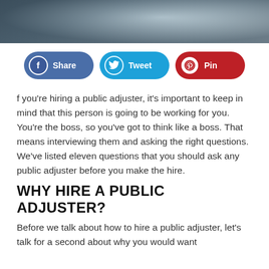[Figure (photo): Blurred background photo strip at top of page, showing indistinct dark and light tones]
[Figure (infographic): Social sharing buttons: Facebook Share (blue), Twitter Tweet (cyan), Pinterest Pin (red)]
f you’re hiring a public adjuster, it’s important to keep in mind that this person is going to be working for you. You’re the boss, so you’ve got to think like a boss. That means interviewing them and asking the right questions. We’ve listed eleven questions that you should ask any public adjuster before you make the hire.
WHY HIRE A PUBLIC ADJUSTER?
Before we talk about how to hire a public adjuster, let’s talk for a second about why you would want